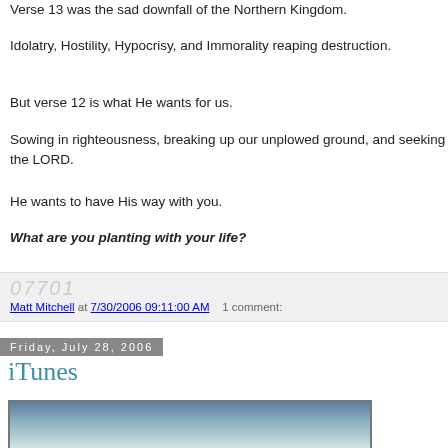Verse 13 was the sad downfall of the Northern Kingdom.
Idolatry, Hostility, Hypocrisy, and Immorality reaping destruction.
But verse 12 is what He wants for us.
Sowing in righteousness, breaking up our unplowed ground, and seeking the LORD.
He wants to have His way with you.
What are you planting with your life?
Matt Mitchell at 7/30/2006 09:11:00 AM    1 comment:
Friday, July 28, 2006
iTunes
[Figure (photo): A photograph, partially visible, showing a person with blurred bookshelves in the background.]